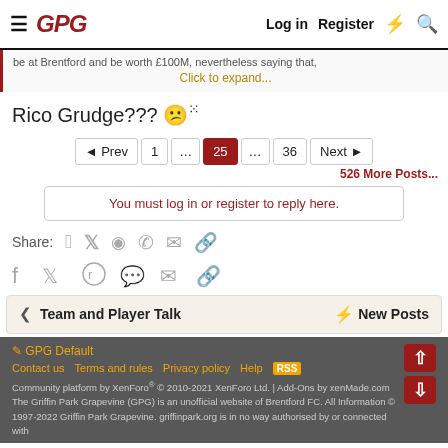GPG | Log in | Register
be at Brentford and be worth £100M, nevertheless saying that,
Click to expand...
Rico Grudge??? 😕
◄ Prev  1  ...  25  ...  36  Next ►
526 More Posts...
You must log in or register to reply here.
Share:
Team and Player Talk  ⚡ New Posts
🖊 GPG Default
Contact us  Terms and rules  Privacy policy  Help
Community platform by XenForo® © 2010-2021 XenForo Ltd. | Add-Ons by xenMade.com
The Griffin Park Grapevine (GPG) is an unofficial website of Brentford FC. All Information © 1997-2022 Griffin Park Grapevine. griffinpark.org is in no way authorised by or connected with